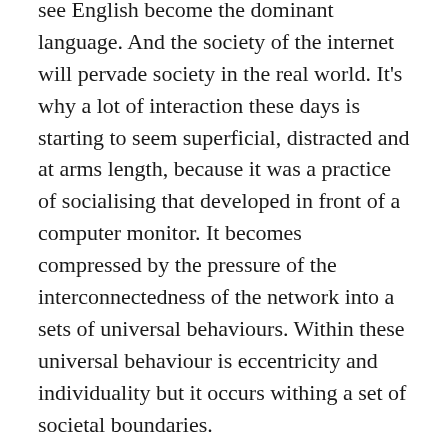see English become the dominant language. And the society of the internet will pervade society in the real world. It's why a lot of interaction these days is starting to seem superficial, distracted and at arms length, because it was a practice of socialising that developed in front of a computer monitor. It becomes compressed by the pressure of the interconnectedness of the network into a sets of universal behaviours. Within these universal behaviour is eccentricity and individuality but it occurs withing a set of societal boundaries.
It can seem overwhelming, that nothing then is truly original and everyone is a smudged together version of countless others. But that's true. All knowledge is put together by other